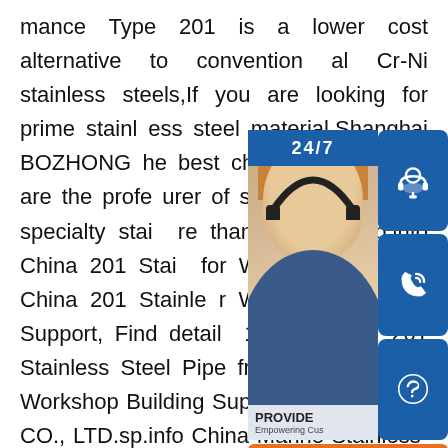mance Type 201 is a lower cost alternative to conventional Cr-Ni stainless steels,If you are looking for prime stainless steel material,Shanghai BOZHONG Metal Group is t he best choice for you. We are the professional manufacturer of stainless steel and specialty stainless steel for more than 20 years.sp.info China 201 Stainless Steel Pipes for Workshop Building China 201 Stainless Steel Pipes for Workshop Building Support, Find details about China 201 Steel Pipe, 201 Stainless Steel Pipe from China 201 Stainless Steel Pipes for Workshop Building Support - BOZHONG WANG STEEL CO., LTD.sp.info China Marine-Stainless-Steel-Pipe SuppliersImport China Marine Stainless Steel Pipe from various high quality Chinese Marine Stainless Steel Pipe suppliers on Global Sources. We use cookies to give you the best possible experience on our website. F
[Figure (infographic): Customer service overlay panel with a woman wearing a headset, 24/7 label, three icon buttons (headset, phone, Skype), a PROVIDE Empowering Customers branding, and an orange 'online live' button]